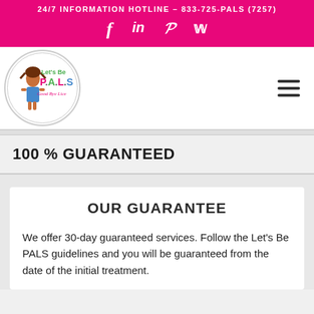24/7 INFORMATION HOTLINE – 833-725-PALS (7257)
[Figure (logo): Let's Be P.A.L.S logo with cartoon girl and text 'Good Bye Lice']
100 % GUARANTEED
OUR GUARANTEE
We offer 30-day guaranteed services. Follow the Let's Be PALS guidelines and you will be guaranteed from the date of the initial treatment.